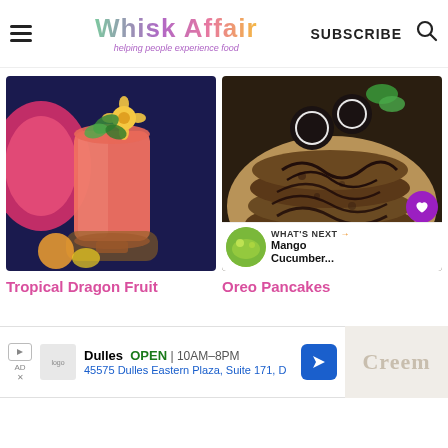Whisk Affair — Helping people experience food | SUBSCRIBE
[Figure (photo): A tall glass of pink/orange tropical dragon fruit smoothie garnished with a yellow flower and mint leaves, with dragon fruit halves in the background]
[Figure (photo): Oreo pancakes stacked on a plate, drizzled with chocolate sauce, with Oreo cookies on top]
WHAT'S NEXT → Mango Cucumber...
Tropical Dragon Fruit
Oreo Pancakes
Dulles  OPEN | 10AM–8PM  45575 Dulles Eastern Plaza, Suite 171, D